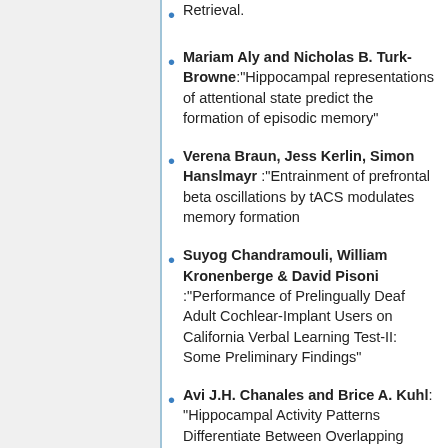Retrieval.
Mariam Aly and Nicholas B. Turk-Browne:"Hippocampal representations of attentional state predict the formation of episodic memory"
Verena Braun, Jess Kerlin, Simon Hanslmayr :"Entrainment of prefrontal beta oscillations by tACS modulates memory formation
Suyog Chandramouli, William Kronenberge & David Pisoni :"Performance of Prelingually Deaf Adult Cochlear-Implant Users on California Verbal Learning Test-II: Some Preliminary Findings"
Avi J.H. Chanales and Brice A. Kuhl: "Hippocampal Activity Patterns Differentiate Between Overlapping Routes"